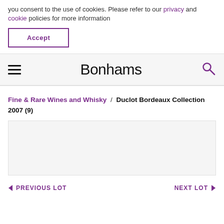you consent to the use of cookies. Please refer to our privacy and cookie policies for more information
Accept
Bonhams
Fine & Rare Wines and Whisky / Duclot Bordeaux Collection 2007 (9)
[Figure (other): Empty lot image placeholder box]
< PREVIOUS LOT   NEXT LOT >